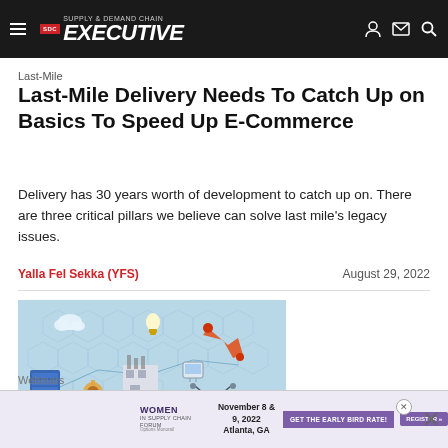Supply & Demand Chain Executive
Last-Mile
Last-Mile Delivery Needs To Catch Up on Basics To Speed Up E-Commerce
Delivery has 30 years worth of development to catch up on. There are three critical pillars we believe can solve last mile's legacy issues.
Yalla Fel Sekka (YFS)    August 29, 2022
[Figure (illustration): Illustration of supply chain and smart manufacturing technology icons including cloud, robot arm, factory, drones, server racks, gears on a light blue background with hexagonal network pattern]
Webinars